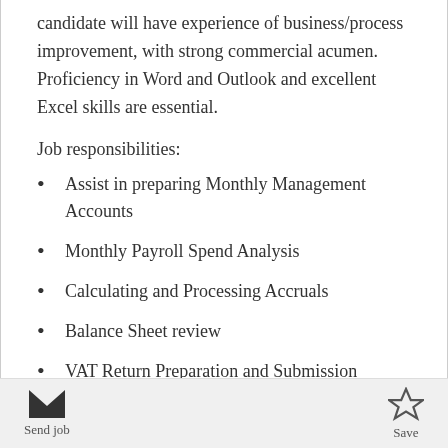candidate will have experience of business/process improvement, with strong commercial acumen. Proficiency in Word and Outlook and excellent Excel skills are essential.
Job responsibilities:
Assist in preparing Monthly Management Accounts
Monthly Payroll Spend Analysis
Calculating and Processing Accruals
Balance Sheet review
VAT Return Preparation and Submission
Assist in preparation of Budgets and Forecasts
Send job   Save